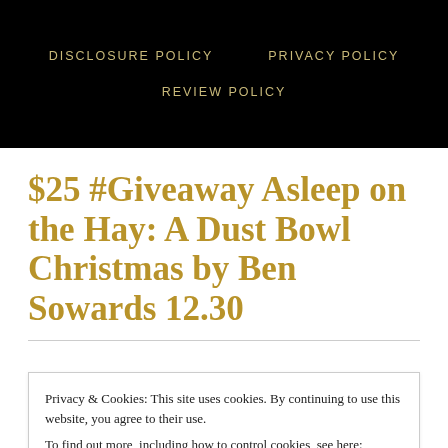DISCLOSURE POLICY   PRIVACY POLICY   REVIEW POLICY
$25 #Giveaway Asleep on the Hay: A Dust Bowl Christmas by Ben Sowards 12.30
Privacy & Cookies: This site uses cookies. By continuing to use this website, you agree to their use.
To find out more, including how to control cookies, see here: Cookie Policy
Close and accept